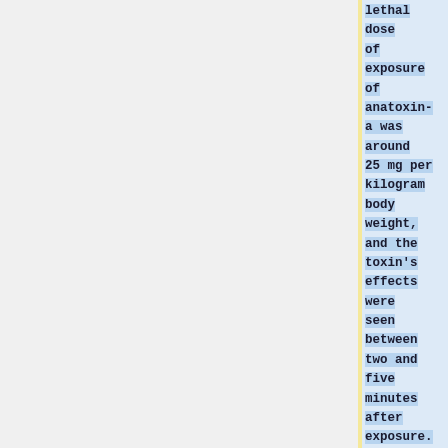lethal dose of exposure of anatoxin-a was around 25 mg per kilogram body weight, and the toxin's effects were seen between two and five minutes after exposure. It has been theorized that these times could be similar in